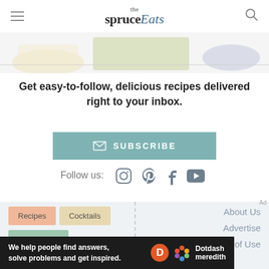the spruce Eats
[Figure (illustration): Partial view of food illustration images strip at top of page]
Get easy-to-follow, delicious recipes delivered right to your inbox.
✉ SUBSCRIBE
Follow us: [Instagram] [Pinterest] [Facebook] [YouTube]
Recipes
Cocktails
By Region
About Us
Advertise
Terms of Use
We help people find answers, solve problems and get inspired. Dotdash meredith